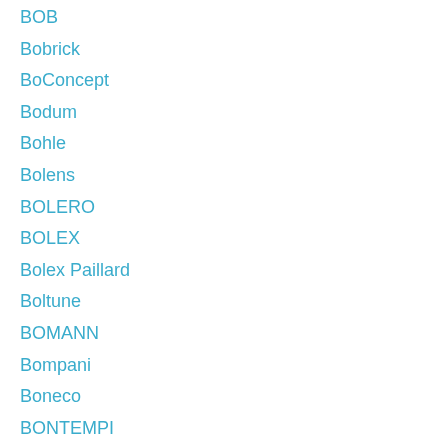BOB
Bobrick
BoConcept
Bodum
Bohle
Bolens
BOLERO
BOLEX
Bolex Paillard
Boltune
BOMANN
Bompani
Boneco
BONTEMPI
Bontrager